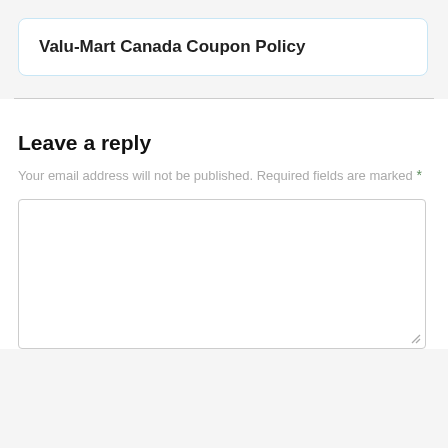Valu-Mart Canada Coupon Policy
Leave a reply
Your email address will not be published. Required fields are marked *